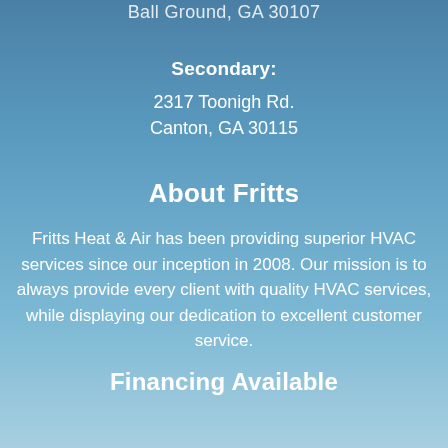Ball Ground, GA 30107
Secondary:
2317 Toonigh Rd.
Canton, GA 30115
About Fritts
Fritts Heat & Air has been providing superior HVAC services since our inception in 2008. Our mission is to always provide every client with quality HVAC services, while displaying our dedication to excellent customer service.
Financing Available